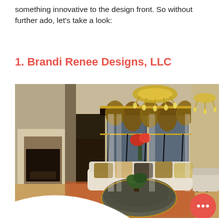something innovative to the design front. So without further ado, let's take a look:
1. Brandi Renee Designs, LLC
[Figure (photo): Luxury living room interior with ornate dark gold valance curtains over sliding glass doors, white curved sofa with patterned pillows, large tufted round ottoman, chandelier, marble fireplace on the left, and a sitting area on the right.]